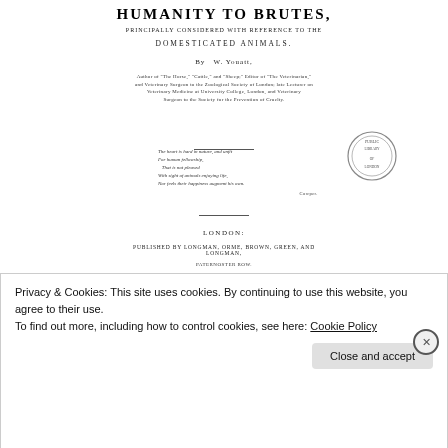HUMANITY TO BRUTES,
PRINCIPALLY CONSIDERED WITH REFERENCE TO THE
DOMESTICATED ANIMALS.
BY W. YOUATT,
Author of "The Horse," "Cattle," and "Sheep;" Editor of "The Veterinarian," and Veterinary Surgeon to the Zoological Society of London; late Lecturer on Veterinary Medicine at University College, London, and Veterinary Surgeon to the Society for the Prevention of Cruelty.
The heart is hard in nature, and unfit
For human fellowship,
That is not pleased
With sight of animals enjoying life,
Nor feels their happiness augment his own.
COWPER
LONDON:
PUBLISHED BY LONGMAN, ORME, BROWN, GREEN, AND LONGMAN,
PATERNOSTER ROW.
1839.
1067.
THE